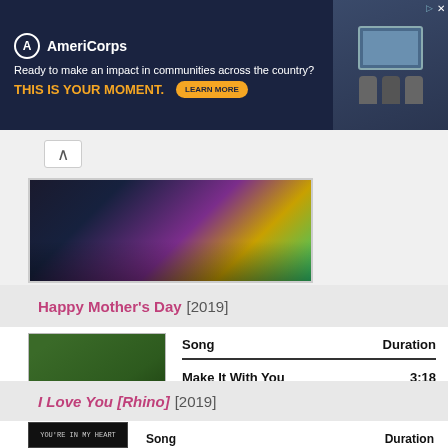[Figure (screenshot): AmeriCorps advertisement banner with dark navy background. Logo and text: 'Ready to make an impact in communities across the country? THIS IS YOUR MOMENT.' with LEARN MORE button. Right side shows photo of people at computer.]
[Figure (photo): Partial view of album artwork, cropped, colorful background with people in dark outfits]
Happy Mother's Day [2019]
[Figure (photo): Photo of two people smiling: an older woman with short blonde hair and sunglasses, and a tall bald man in a black shirt, standing in front of green foliage]
| Song | Duration |
| --- | --- |
| Make It With You | 3:18 |
I Love You [Rhino] [2019]
[Figure (photo): Partial album cover with dark background and text visible]
| Song | Duration |
| --- | --- |